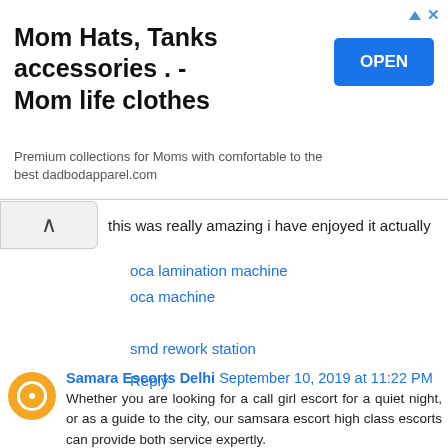[Figure (other): Advertisement banner for Mom Hats, Tanks accessories / Mom life clothes with an OPEN button]
this was really amazing i have enjoyed it actually
oca lamination machine
oca machine

smd rework station

Reply
Samara Escorts Delhi September 10, 2019 at 11:22 PM
Whether you are looking for a call girl escort for a quiet night, or as a guide to the city, our samsara escort high class escorts can provide both service expertly.
Female Call Girls in Delhi Escorts
Russian Escorts Service in Delhi
College Girls Escorts in Aerocity
VIP Female Model Escorts Delhi